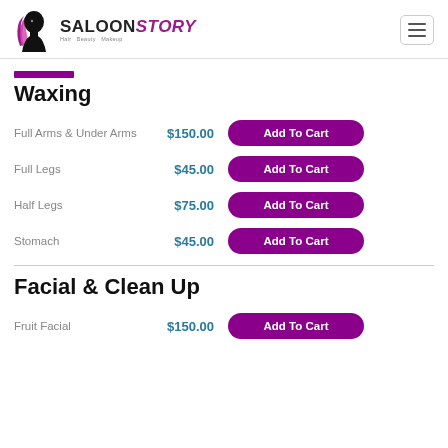[Figure (logo): SaloonStory logo with woman silhouette and scissors, brand name SALOONSTORY]
Waxing
Full Arms & Under Arms — $150.00 — Add To Cart
Full Legs — $45.00 — Add To Cart
Half Legs — $75.00 — Add To Cart
Stomach — $45.00 — Add To Cart
Facial & Clean Up
Fruit Facial — $150.00 — Add To Cart